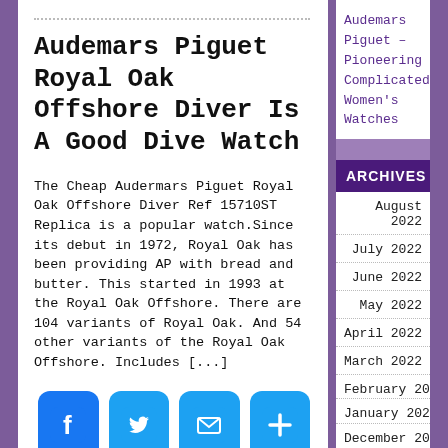Audemars Piguet – Pioneering Complicated Women's Watches
Audemars Piguet Royal Oak Offshore Diver Is A Good Dive Watch
The Cheap Audermars Piguet Royal Oak Offshore Diver Ref 15710ST Replica is a popular watch.Since its debut in 1972, Royal Oak has been providing AP with bread and butter. This started in 1993 at the Royal Oak Offshore. There are 104 variants of Royal Oak. And 54 other variants of the Royal Oak Offshore. Includes [...]
[Figure (infographic): Four social sharing buttons: Facebook (blue), Twitter (blue), Email (blue envelope), Add/Share (blue plus)]
ARCHIVES
August 2022
July 2022
June 2022
May 2022
April 2022
March 2022
February 2022
January 2022
December 2021